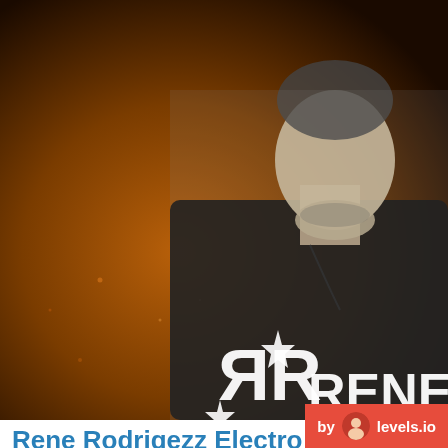DRUM AND BASS | ELECTRO HOUSE | TRAP | BASS MUSIC | FUTURE BASS | LOUNGE | REGGAE | MOOMBAH | TECHNO
[Figure (photo): Black and white photo of Rene Rodrigezz holding objects near chest, with amber/golden warm background bokeh and white RR logo overlay]
Rene Rodrigezz Electro Hou...
Electro House mix by Rene Rodrigezz from Balloon Reco...
9 years ago
Rene Rodrigezz is an Austrian deejay, producer a... inimitable DJ sets, his bootlegs and his own track...
by levels.io